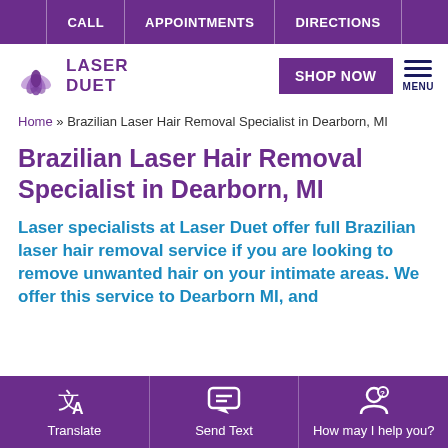CALL | APPOINTMENTS | DIRECTIONS
[Figure (logo): Laser Duet logo with flower icon and text LASER DUET, plus SHOP NOW button and hamburger MENU icon]
Home » Brazilian Laser Hair Removal Specialist in Dearborn, MI
Brazilian Laser Hair Removal Specialist in Dearborn, MI
Laser specialists at Laser Duet offer full Brazilian laser hair removal service if you are looking to remove unwanted hair on your intimate areas. We offer this service to Dearborn MI, and
Translate | Send Text | How may I help you?